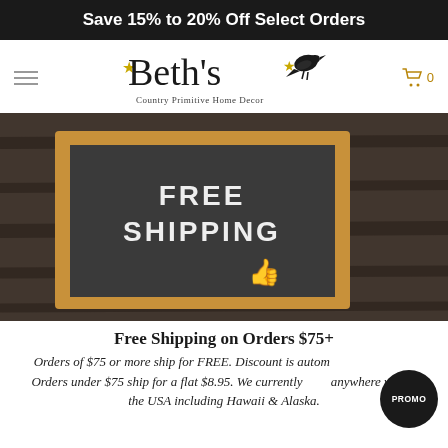Save 15% to 20% Off Select Orders
[Figure (logo): Beth's Country Primitive Home Decor logo with crow bird, stars, and cursive script text]
[Figure (photo): A dark letter board with wooden frame on a wood plank background displaying FREE SHIPPING text with a thumbs up icon]
Free Shipping on Orders $75+
Orders of $75 or more ship for FREE. Discount is automatically applied. Orders under $75 ship for a flat $8.95. We currently ship anywhere within the USA including Hawaii & Alaska.